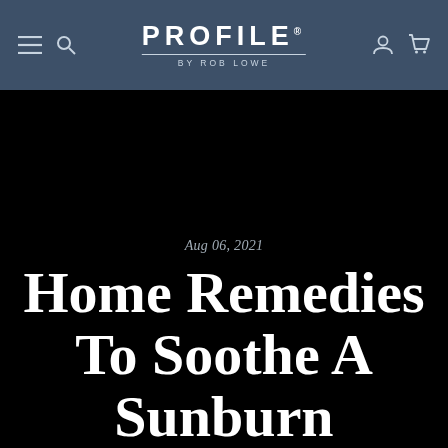PROFILE BY ROB LOWE
Aug 06, 2021
Home Remedies To Soothe A Sunburn